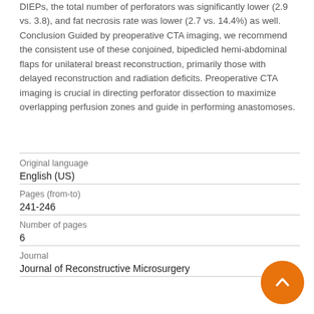DIEPs, the total number of perforators was significantly lower (2.9 vs. 3.8), and fat necrosis rate was lower (2.7 vs. 14.4%) as well. Conclusion Guided by preoperative CTA imaging, we recommend the consistent use of these conjoined, bipedicled hemi-abdominal flaps for unilateral breast reconstruction, primarily those with delayed reconstruction and radiation deficits. Preoperative CTA imaging is crucial in directing perforator dissection to maximize overlapping perfusion zones and guide in performing anastomoses.
| Field | Value |
| --- | --- |
| Original language | English (US) |
| Pages (from-to) | 241-246 |
| Number of pages | 6 |
| Journal | Journal of Reconstructive Microsurgery |